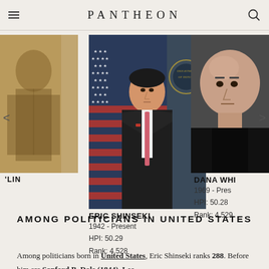PANTHEON
[Figure (photo): Partial view of a historical portrait painting, cropped on left side]
[Figure (photo): Eric Shinseki in military/official setting with US flag and Department seal in background, wearing dark suit and pink tie]
[Figure (photo): Dana White, bald man in black shirt, partially visible on right side]
'LIN
ERIC SHINSEKI
1942 - Present
HPI: 50.29
Rank: 4,528
DANA WHI
1969 - Pres
HPI: 50.28
Rank: 4,529
AMONG POLITICIANS IN UNITED STATES
Among politicians born in United States, Eric Shinseki ranks 288. Before him are Sanford B. Dole (1844), Lee